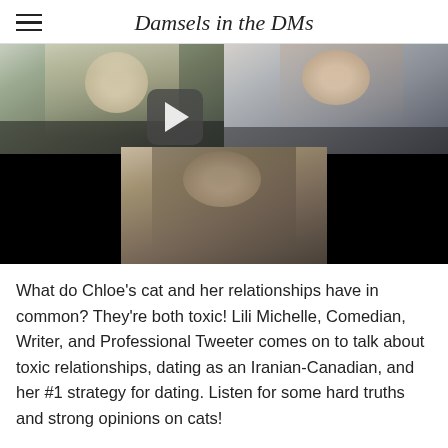Damsels in the DMs
[Figure (photo): Video thumbnail showing three women in a video call layout. Top left: a woman with long blonde hair and glasses smiling. Top right: a woman with long brown hair resting her chin on her hand. Bottom center: a woman with long dark hair. A play button overlay is visible in the center of the image.]
What do Chloe's cat and her relationships have in common? They're both toxic! Lili Michelle, Comedian, Writer, and Professional Tweeter comes on to talk about toxic relationships, dating as an Iranian-Canadian, and her #1 strategy for dating. Listen for some hard truths and strong opinions on cats!